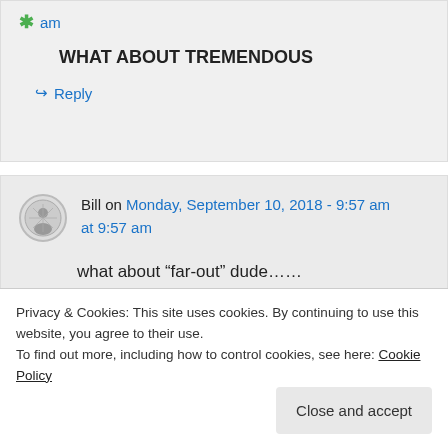am
WHAT ABOUT TREMENDOUS
↳ Reply
Bill on Monday, September 10, 2018 - 9:57 am at 9:57 am
what about “far-out” dude……
maybe the word natzi can correct that
Privacy & Cookies: This site uses cookies. By continuing to use this website, you agree to their use. To find out more, including how to control cookies, see here: Cookie Policy
Close and accept